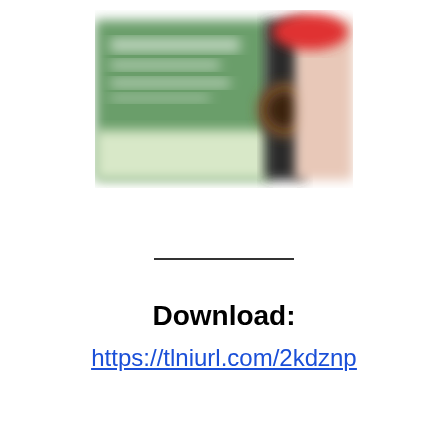[Figure (illustration): Blurred book cover image showing a green cover with text and a dark spine with a circular element, plus a red label in top right corner]
Download:
https://tlniurl.com/2kdznp